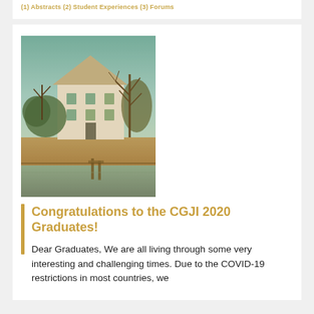(1) Abstracts (2) Student Experiences (3) Forums
[Figure (photo): Photograph of a white two-story house with a steep roof near a body of water, with bare trees in the background and a warm vintage color tone.]
Congratulations to the CGJI 2020 Graduates!
Dear Graduates, We are all living through some very interesting and challenging times. Due to the COVID-19 restrictions in most countries, we